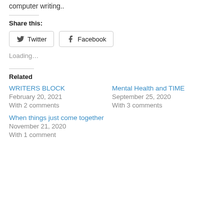computer writing..
Share this:
Twitter
Facebook
Loading…
Related
WRITERS BLOCK
February 20, 2021
With 2 comments
Mental Health and TIME
September 25, 2020
With 3 comments
When things just come together
November 21, 2020
With 1 comment